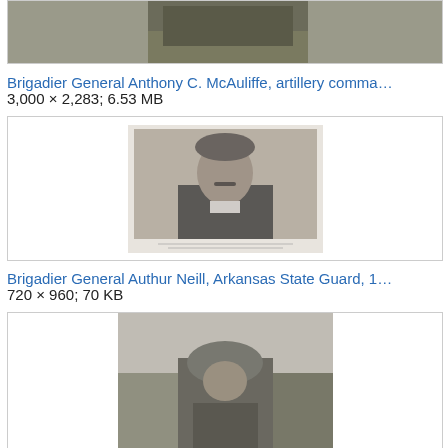[Figure (photo): Black and white photograph partially visible at top of page - outdoor military scene]
Brigadier General Anthony C. McAuliffe, artillery comma…
3,000 × 2,283; 6.53 MB
[Figure (photo): Black and white portrait photograph of Brigadier General Authur Neill in military uniform]
Brigadier General Authur Neill, Arkansas State Guard, 1…
720 × 960; 70 KB
[Figure (photo): Black and white photograph of a military general wearing a helmet, partially visible at bottom]